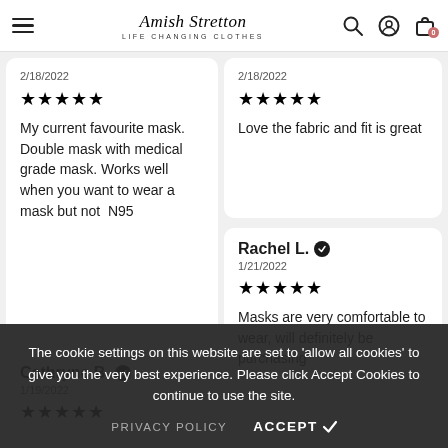Amish Stretton - LIFE CHANGING CLOTHES
2/18/2022
★★★★★
My current favourite mask. Double mask with medical grade mask. Works well when you want to wear a mask but not  N95
2/18/2022
★★★★★
Love the fabric and fit is great
Cathryne B. ✓
1/19/2022
★★★★★
Lovely shape to my face...
Rachel L. ✓
1/21/2022
★★★★★
Masks are very comfortable to wear, will definitely be purchasing more! Plus I get loads of compliments on the...
The cookie settings on this website are set to 'allow all cookies' to give you the very best experience. Please click Accept Cookies to continue to use the site.
PRIVACY POLICY   ACCEPT ✔